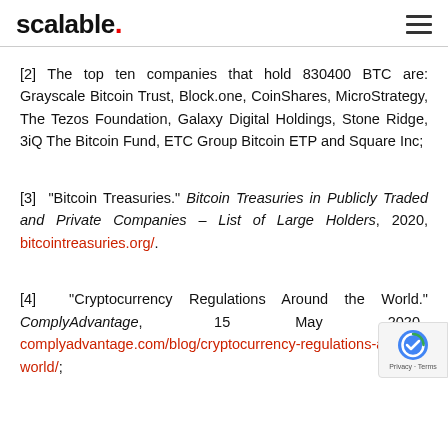scalable.
[2] The top ten companies that hold 830400 BTC are: Grayscale Bitcoin Trust, Block.one, CoinShares, MicroStrategy, The Tezos Foundation, Galaxy Digital Holdings, Stone Ridge, 3iQ The Bitcoin Fund, ETC Group Bitcoin ETP and Square Inc;
[3] “Bitcoin Treasuries.” Bitcoin Treasuries in Publicly Traded and Private Companies – List of Large Holders, 2020, bitcointreasuries.org/.
[4] “Cryptocurrency Regulations Around the World.” ComplyAdvantage, 15 May 2020, complyadvantage.com/blog/cryptocurrency-regulations-around-world/;